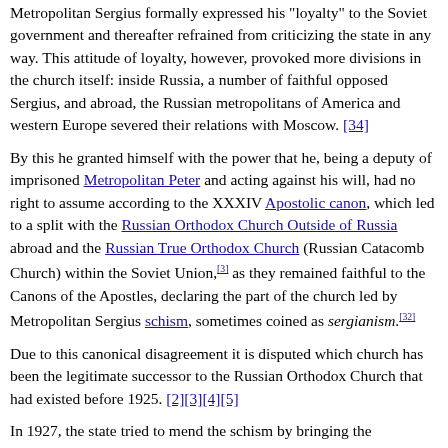Metropolitan Sergius formally expressed his "loyalty" to the Soviet government and thereafter refrained from criticizing the state in any way. This attitude of loyalty, however, provoked more divisions in the church itself: inside Russia, a number of faithful opposed Sergius, and abroad, the Russian metropolitans of America and western Europe severed their relations with Moscow. [34]
By this he granted himself with the power that he, being a deputy of imprisoned Metropolitan Peter and acting against his will, had no right to assume according to the XXXIV Apostolic canon, which led to a split with the Russian Orthodox Church Outside of Russia abroad and the Russian True Orthodox Church (Russian Catacomb Church) within the Soviet Union,[3] as they remained faithful to the Canons of the Apostles, declaring the part of the church led by Metropolitan Sergius schism, sometimes coined as sergianism.[32]
Due to this canonical disagreement it is disputed which church has been the legitimate successor to the Russian Orthodox Church that had existed before 1925. [2][3][4][5]
In 1927, the state tried to mend the schism by bringing the renovationists back into the Orthodox church, partly so that the former could be better controlled through agents they had in the